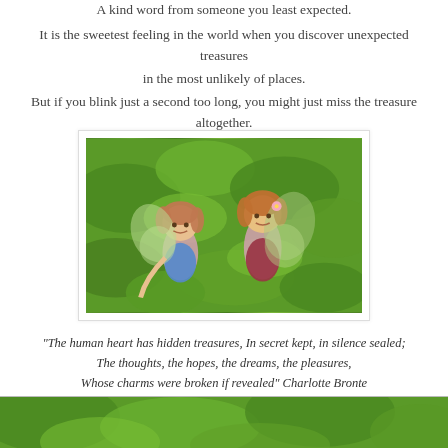A kind word from someone you least expected.

It is the sweetest feeling in the world when you discover unexpected treasures
in the most unlikely of places.
But if you blink just a second too long, you might just miss the treasure altogether.
[Figure (photo): Two fairy figurines with wings among green leaves, one in blue dress on the left and one in red/maroon dress on the right, surrounded by lush green foliage]
"The human heart has hidden treasures, In secret kept, in silence sealed;
The thoughts, the hopes, the dreams, the pleasures,
Whose charms were broken if revealed" Charlotte Bronte
[Figure (photo): Partial green nature/foliage scene at bottom of page, cropped]